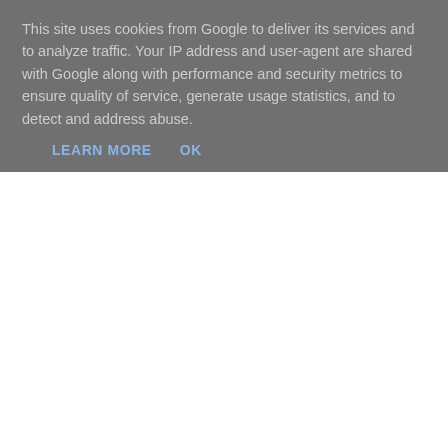This site uses cookies from Google to deliver its services and to analyze traffic. Your IP address and user-agent are shared with Google along with performance and security metrics to ensure quality of service, generate usage statistics, and to detect and address abuse.
LEARN MORE    OK
Posted by overyourhead at Wednesday, August 11, 2010   No comments:
Labels: Brighton, Brighton and Hove, Brighton Pride, Gay Lesbian and B...
Tuesday, August 10, 2010
Glee Flash Mob at Brighton Pride...
Darren and I took part in a flash mob at Brighton Pride to the sounds of D... Feeling, California Gurls and Just Dance. It was all choreographed by a s... and places on FB. Can you spot us in the mayhem? Probably not! Gro...